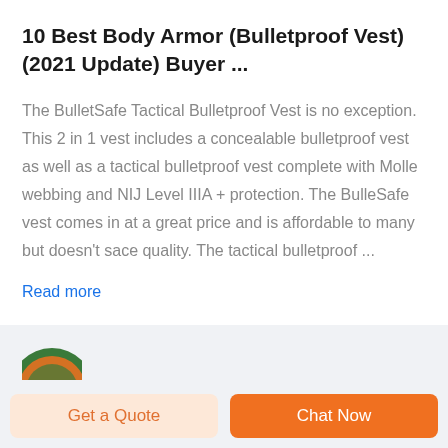10 Best Body Armor (Bulletproof Vest) (2021 Update) Buyer ...
The BulletSafe Tactical Bulletproof Vest is no exception. This 2 in 1 vest includes a concealable bulletproof vest as well as a tactical bulletproof vest complete with Molle webbing and NIJ Level IIIA + protection. The BulleSafe vest comes in at a great price and is affordable to many but doesn't sace quality. The tactical bulletproof ...
Read more
[Figure (logo): Partial logo visible at the bottom of the card, circular shape with green and orange colors, partially cut off]